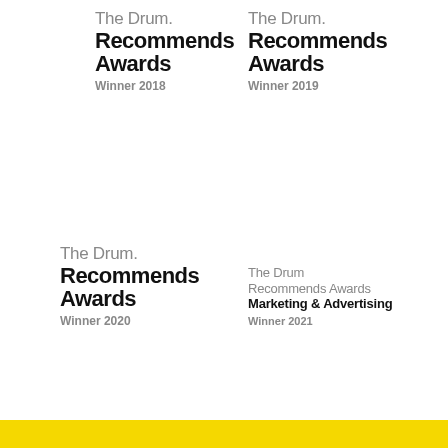[Figure (logo): The Drum Recommends Awards Winner 2018 logo]
[Figure (logo): The Drum Recommends Awards Winner 2019 logo]
[Figure (logo): The Drum Recommends Awards Winner 2020 logo]
[Figure (logo): The Drum Recommends Awards Marketing & Advertising Winner 2021 logo]